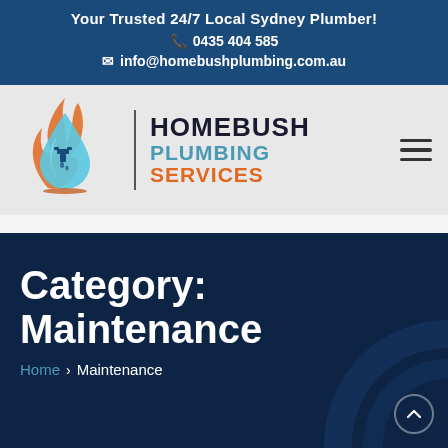Your Trusted 24/7 Local Sydney Plumber!
📞 0435 404 585
✉ info@homebushplumbing.com.au
[Figure (logo): Homebush Plumbing Services logo with water drop and flame icon]
Category: Maintenance
Home › Maintenance